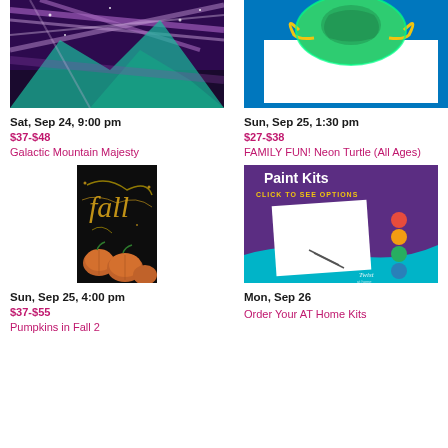[Figure (photo): Galactic Mountain Majesty painting - purple and teal galaxy mountain scene with metallic streaks]
Sat, Sep 24, 9:00 pm
$37-$48
Galactic Mountain Majesty
[Figure (photo): FAMILY FUN! Neon Turtle painting - colorful neon turtle on blue background]
Sun, Sep 25, 1:30 pm
$27-$38
FAMILY FUN! Neon Turtle (All Ages)
[Figure (photo): Pumpkins in Fall 2 painting - fall scene with pumpkins and gold script 'fall' on dark background]
Sun, Sep 25, 4:00 pm
$37-$55
Pumpkins in Fall 2
[Figure (photo): Paint Kits - purple box with canvas, paint dots, and brushes. Text says Paint Kits, Click to See Options. Twist at Home branding.]
Mon, Sep 26
Order Your AT Home Kits